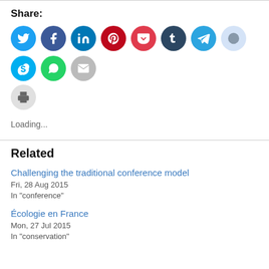Share:
[Figure (infographic): Row of social media sharing icon circles: Twitter (blue), Facebook (dark blue), LinkedIn (blue), Pinterest (red), Pocket (red), Tumblr (dark navy), Telegram (blue), Reddit (light blue/gray), Skype (blue), WhatsApp (green), Email (gray), Print (light gray)]
Loading...
Related
Challenging the traditional conference model
Fri, 28 Aug 2015
In "conference"
Écologie en France
Mon, 27 Jul 2015
In "conservation"